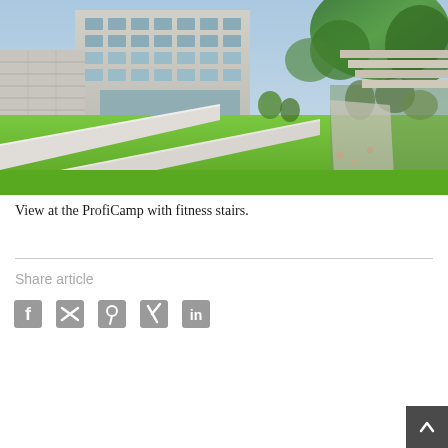[Figure (photo): Exterior view of the ProfiCamp campus featuring a modern multi-story building in the background, bright green grass terraces divided by white concrete ramp structures, paved areas to the left, planted garden areas to the right, and a walking path. Blue sky with trees visible.]
View at the ProfiCamp with fitness stairs.
Share article
[Figure (infographic): Social media sharing icons: Facebook (f), Twitter (bird/checkmark), Pinterest (p), Xing (x), LinkedIn (in)]